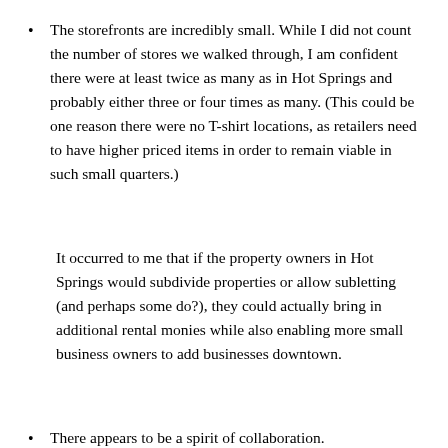The storefronts are incredibly small. While I did not count the number of stores we walked through, I am confident there were at least twice as many as in Hot Springs and probably either three or four times as many. (This could be one reason there were no T-shirt locations, as retailers need to have higher priced items in order to remain viable in such small quarters.)
It occurred to me that if the property owners in Hot Springs would subdivide properties or allow subletting (and perhaps some do?), they could actually bring in additional rental monies while also enabling more small business owners to add businesses downtown.
There appears to be a spirit of collaboration.
The gallery association in Eureka Springs discusses what